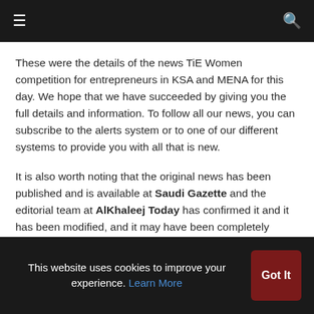☰ [hamburger menu] | [search icon]
These were the details of the news TiE Women competition for entrepreneurs in KSA and MENA for this day. We hope that we have succeeded by giving you the full details and information. To follow all our news, you can subscribe to the alerts system or to one of our different systems to provide you with all that is new.
It is also worth noting that the original news has been published and is available at Saudi Gazette and the editorial team at AlKhaleej Today has confirmed it and it has been modified, and it may have been completely transferred or quoted from it and you can read and follow this news from its main source.
This website uses cookies to improve your experience. Learn More | Got It